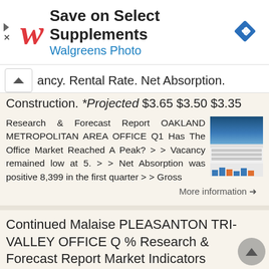[Figure (other): Walgreens advertisement banner with logo, 'Save on Select Supplements' text, 'Walgreens Photo' subtitle, and a blue navigation arrow icon]
ancy. Rental Rate. Net Absorption. Construction. *Projected $3.65 $3.50 $3.35
Research & Forecast Report OAKLAND METROPOLITAN AREA OFFICE Q1 Has The Office Market Reached A Peak? > > Vacancy remained low at 5. > > Net Absorption was positive 8,399 in the first quarter > > Gross
More information ➔
Continued Malaise PLEASANTON TRI-VALLEY OFFICE Q % Research & Forecast Report Market Indicators
Research & Forecast Report PLEASANTON TRI-VALLEY OFFICE 2018 Continued Malaise